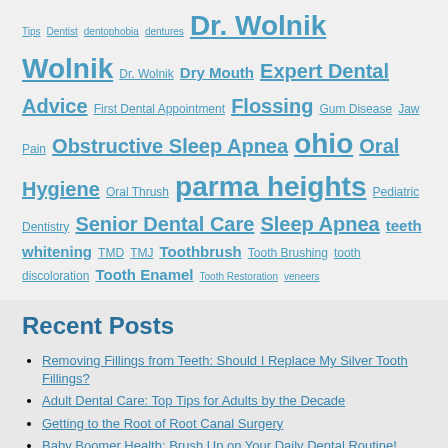Tips Dentist dentophobia dentures Dr. Wolnik Wolnik Dr. Wolnik Dry Mouth Expert Dental Advice First Dental Appointment Flossing Gum Disease Jaw Pain Obstructive Sleep Apnea ohio Oral Hygiene Oral Thrush parma heights Pediatric Dentistry Senior Dental Care Sleep Apnea teeth whitening TMD TMJ Toothbrush Tooth Brushing tooth discoloration Tooth Enamel Tooth Restoration veneers
Recent Posts
Removing Fillings from Teeth: Should I Replace My Silver Tooth Fillings?
Adult Dental Care: Top Tips for Adults by the Decade
Getting to the Root of Root Canal Surgery
Baby Boomer Health: Brush Up on Your Daily Dental Routine!
What is the Cost of Dental Crowns?